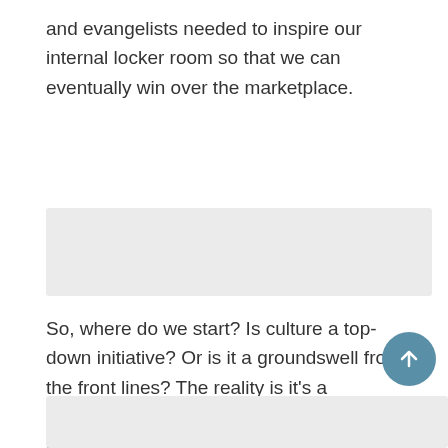and evangelists needed to inspire our internal locker room so that we can eventually win over the marketplace.
[Figure (other): Gray placeholder/image box]
So, where do we start? Is culture a top-down initiative? Or is it a groundswell from the front lines? The reality is it's a combination, but it does lean toward one of the two dynamics. While the top-down message and vision are important, culture is by no means a “push” program. There is no wand to inspire employees to love the company and one another. People need to make those decisions willingly and on their own terms.
[Figure (other): Gray placeholder/image box at bottom]